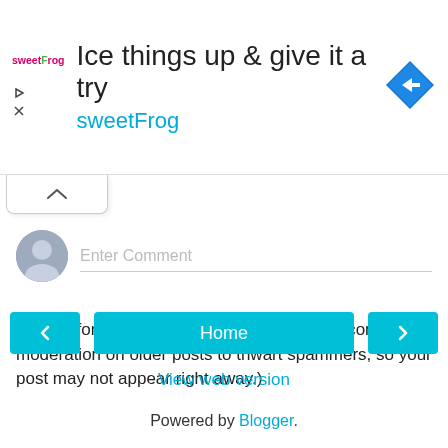[Figure (infographic): SweetFrog advertisement banner with logo, tagline 'Ice things up & give it a try', brand name 'sweetFrog', and a blue diamond navigation icon]
[Figure (other): Collapse/expand chevron button below the ad banner]
[Figure (other): User avatar placeholder (grey silhouette circle) next to Enter Comment input field]
Thanks for commenting! (I've had to enable comment moderation on older posts to thwart spammers, so your post may not appear right away.)
[Figure (other): Navigation buttons: left arrow, Home (center), right arrow — all in teal/cyan color]
View web version
Powered by Blogger.